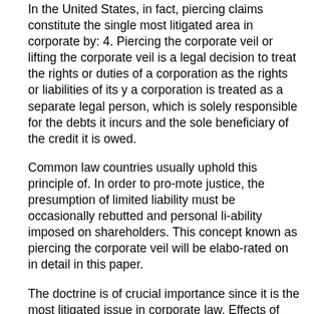In the United States, in fact, piercing claims constitute the single most litigated area in corporate by: 4. Piercing the corporate veil or lifting the corporate veil is a legal decision to treat the rights or duties of a corporation as the rights or liabilities of its y a corporation is treated as a separate legal person, which is solely responsible for the debts it incurs and the sole beneficiary of the credit it is owed.
Common law countries usually uphold this principle of. In order to pro-mote justice, the presumption of limited liability must be occasionally rebutted and personal li-ability imposed on shareholders. This concept known as piercing the corporate veil will be elabo-rated on in detail in this paper.
The doctrine is of crucial importance since it is the most litigated issue in corporate law. Effects of Piercing the Corporate Veil. If a court pierces a company's corporate veil, the owners, shareholders, or members of a corporation or LLC can be held personally liable for corporate debts.
This means creditors can go after the owners' home, bank account, investments, and other assets